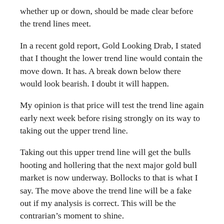whether up or down, should be made clear before the trend lines meet.
In a recent gold report, Gold Looking Drab, I stated that I thought the lower trend line would contain the move down. It has. A break down below there would look bearish. I doubt it will happen.
My opinion is that price will test the trend line again early next week before rising strongly on its way to taking out the upper trend line.
Taking out this upper trend line will get the bulls hooting and hollering that the next major gold bull market is now underway. Bollocks to that is what I say. The move above the trend line will be a fake out if my analysis is correct. This will be the contrarian’s moment to shine.
I have added Fibonacci retracement levels which show a lot of symmetry with several highs and lows